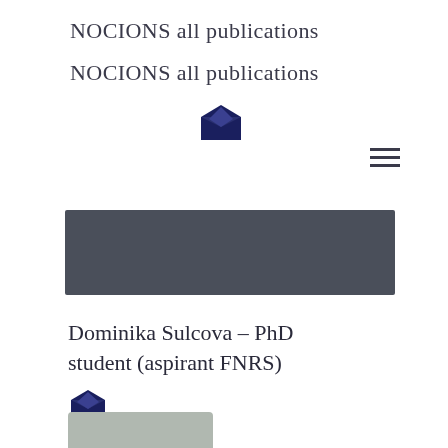NOCIONS all publications
NOCIONS all publications
[Figure (illustration): Dark navy open envelope icon]
[Figure (illustration): Hamburger menu icon (three horizontal lines)]
[Figure (illustration): Dark gray rectangular banner]
Dominika Sulcova – PhD student (aspirant FNRS)
[Figure (illustration): Dark navy open envelope icon]
[Figure (photo): Partial photo of a person with red hair]